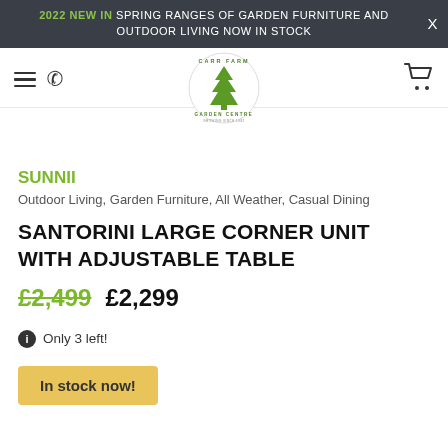2022 NEW IN SPRING RANGES OF GARDEN FURNITURE AND OUTDOOR LIVING NOW IN STOCK
[Figure (logo): Carr Farm Garden Centre logo — circular design with green tree and text]
SUNNII
Outdoor Living, Garden Furniture, All Weather, Casual Dining
SANTORINI LARGE CORNER UNIT WITH ADJUSTABLE TABLE
£2,499  £2,299
Only 3 left!
In stock now!